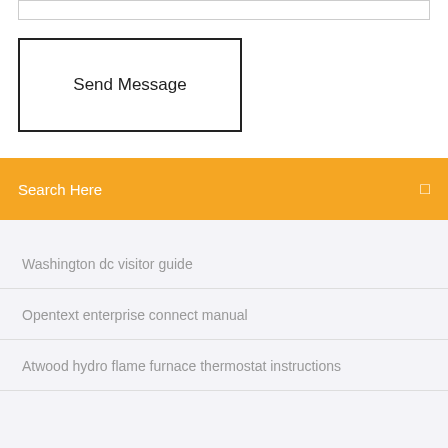[Figure (screenshot): Top input/text field bar (partially visible at top of page)]
[Figure (screenshot): Send Message button with black border outline]
Search Here
Washington dc visitor guide
Opentext enterprise connect manual
Atwood hydro flame furnace thermostat instructions